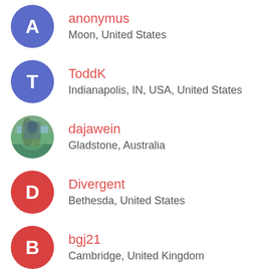anonymus — Moon, United States
ToddK — Indianapolis, IN, USA, United States
dajawein — Gladstone, Australia
Divergent — Bethesda, United States
bgj21 — Cambridge, United Kingdom
glomardor — Leonardtown, United States